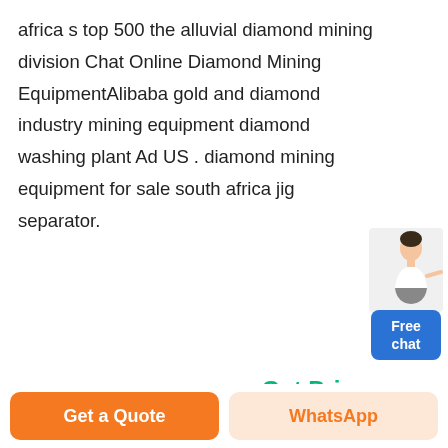africa s top 500 the alluvial diamond mining division Chat Online Diamond Mining EquipmentAlibaba gold and diamond industry mining equipment diamond washing plant Ad US . diamond mining equipment for sale south africa jig separator.
Get Price
[Figure (photo): Industrial mining equipment inside a large factory/warehouse, showing large conical hoppers, cyclone separators, and metal ductwork structures.]
Get a Quote
WhatsApp